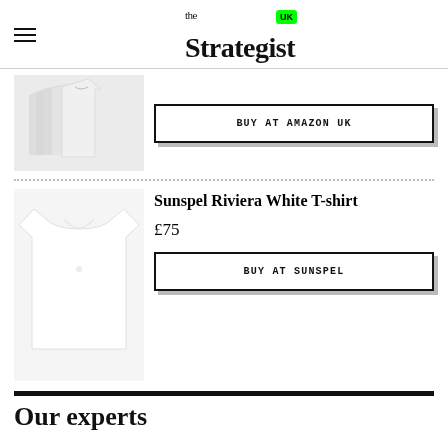the Strategist UK
[Figure (photo): Multiple white t-shirts stacked/fanned out, product shot on light grey background]
BUY AT AMAZON UK
[Figure (photo): Single white Sunspel t-shirt on light grey background]
Sunspel Riviera White T-shirt
£75
BUY AT SUNSPEL
Our experts